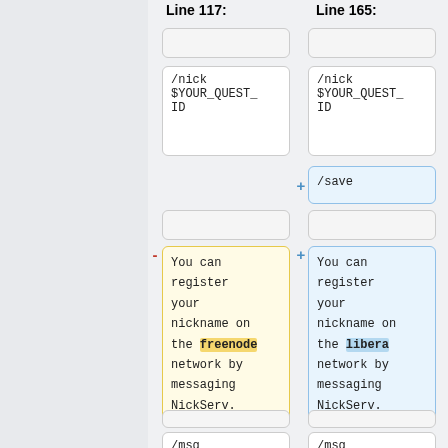Line 117:
Line 165:
(empty cell)
(empty cell)
/nick $YOUR_QUEST_ID
/nick $YOUR_QUEST_ID
+  /save
(empty cell)
(empty cell)
You can register your nickname on the freenode network by messaging NickServ.
You can register your nickname on the libera network by messaging NickServ.
(empty cell)
(empty cell)
/msg
/msg